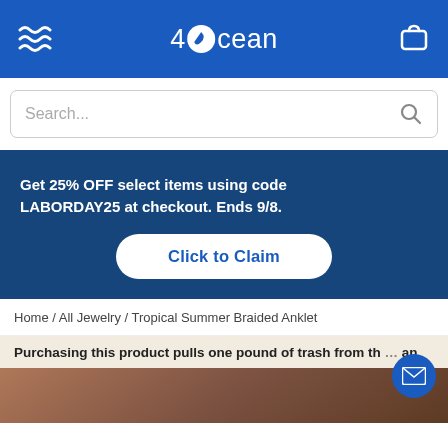4Ocean
Search...
Get 25% OFF select items using code LABORDAY25 at checkout. Ends 9/8.
Click to Claim
Home / All Jewelry / Tropical Summer Braided Anklet
Purchasing this product pulls one pound of trash from th… an
[Figure (photo): Close-up photo of a person's ankle/wrist with skin texture visible]